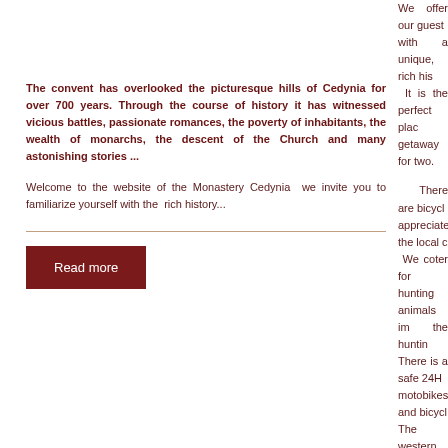We offer our guests with a unique, rich his... It is the perfect plac... getaway for two.
The convent has overlooked the picturesque hills of Cedynia for over 700 years. Through the course of history it has witnessed vicious battles, passionate romances, the poverty of inhabitants, the wealth of monarchs, the descent of the Church and many astonishing stories ...
Welcome to the website of the Monastery Cedynia  we invite you to familiarize yourself with the  rich history...
There are bicycl... appreciate the local c... We coter for hunting animals im the huntin... There is a safe 24H motobikes and bicycl... The western Pomera... 60km from Berlin anc...
We also organize:
Conferences
Weddings, parti...
We rent the ent...
And can arrang... or train station (...